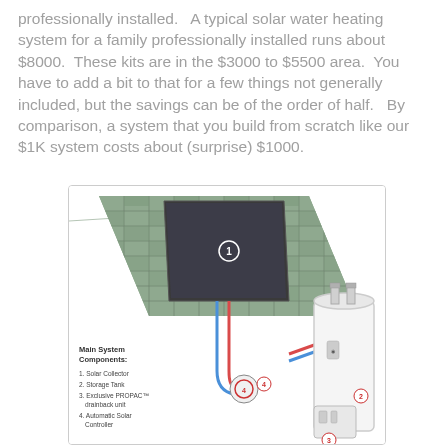professionally installed.   A typical solar water heating system for a family professionally installed runs about $8000.  These kits are in the $3000 to $5500 area.  You have to add a bit to that for a few things not generally included, but the savings can be of the order of half.   By comparison, a system that you build from scratch like our $1K system costs about (surprise) $1000.
[Figure (illustration): Diagram of a solar water heating system showing main system components: 1. Solar Collector (flat panel on tiled roof), 2. Storage Tank (large white cylindrical tank), 3. Exclusive PROPAC drainback unit (small unit at base), 4. Automatic Solar Controller (circular unit connecting pipes). Red and blue pipes connect the rooftop collector to the ground-level tanks.]